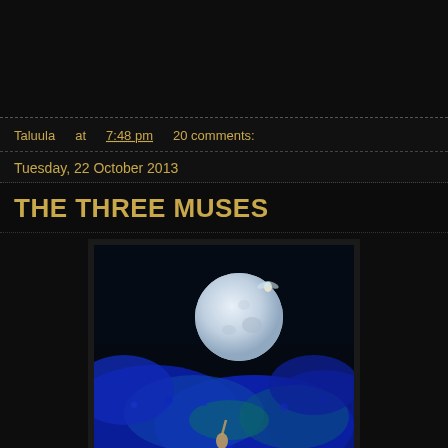Taluula at 7:48 pm   20 comments:
Tuesday, 22 October 2013
THE THREE MUSES
[Figure (photo): Fantasy photo collage showing a large full moon over vivid blue glowing flowers/foliage, with a small fairy-like figure in flight near the moon and a human figure reaching upward at the bottom. Dark atmospheric scene with blue and teal colors.]